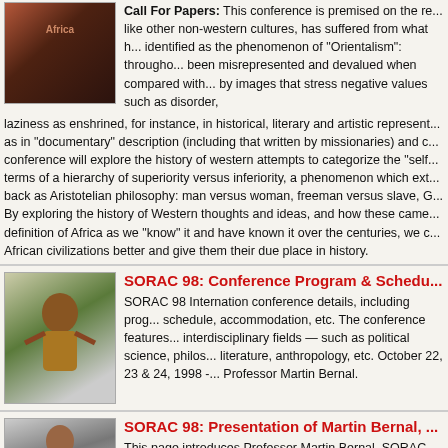[Figure (photo): Book cover image with Africa theme, dark reddish tones]
Call For Papers: This conference is premised on the re... like other non-western cultures, has suffered from what has been identified as the phenomenon of "Orientalism": throughout... been misrepresented and devalued when compared with... by images that stress negative values such as disorder, laziness as enshrined, for instance, in historical, literary and artistic represent... as in "documentary" description (including that written by missionaries) and c... conference will explore the history of western attempts to categorize the "self... terms of a hierarchy of superiority versus inferiority, a phenomenon which ext... back as Aristotelian philosophy: man versus woman, freeman versus slave, G... By exploring the history of Western thoughts and ideas, and how these came... definition of Africa as we "know" it and have known it over the centuries, we c... African civilizations better and give them their due place in history.
SORAC 98: Conference Program & Schedu...
[Figure (photo): Photo of an African dancer in traditional costume]
SORAC 98 Internation conference details, including prog... schedule, accommodation, etc. The conference features... interdisciplinary fields — such as political science, philos... literature, anthropology, etc. October 22, 23 & 24, 1998 -... Professor Martin Bernal.
SORAC 98: Presentation of Martin Bernal, ...
[Figure (photo): Headshot photo of Professor Martin Bernal]
This page introduces Professor Martin Bernal, SORAC 9... our audiences. For those who have not heard of Mar...